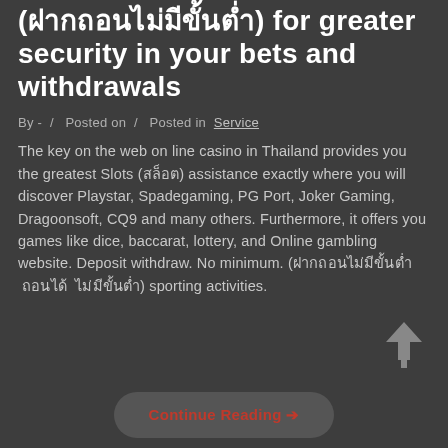(ฝากถอนไม่มีขั้นต่ำ) for greater security in your bets and withdrawals
By - / Posted on / Posted in Service
The key on the web on line casino in Thailand provides you the greatest Slots (สล็อต) assistance exactly where you will discover Playstar, Spadegaming, PG Port, Joker Gaming, Dragoonsoft, CQ9 and many others. Furthermore, it offers you games like dice, baccarat, lottery, and Online gambling website. Deposit withdraw. No minimum. (ฝากถอนไม่มีขั้นต่ำ ถอนได้ ไม่มีขั้นต่ำ) sporting activities.
Continue Reading →